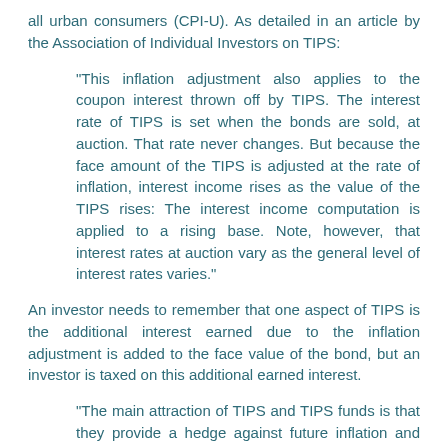all urban consumers (CPI-U). As detailed in an article by the Association of Individual Investors on TIPS:
"This inflation adjustment also applies to the coupon interest thrown off by TIPS. The interest rate of TIPS is set when the bonds are sold, at auction. That rate never changes. But because the face amount of the TIPS is adjusted at the rate of inflation, interest income rises as the value of the TIPS rises: The interest income computation is applied to a rising base. Note, however, that interest rates at auction vary as the general level of interest rates varies."
An investor needs to remember that one aspect of TIPS is the additional interest earned due to the inflation adjustment is added to the face value of the bond, but an investor is taxed on this additional earned interest.
"The main attraction of TIPS and TIPS funds is that they provide a hedge against future inflation and insure a modest, but real rate of return over long holding periods."